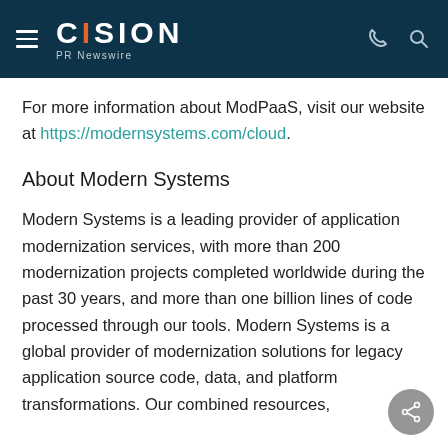CISION PR Newswire
For more information about ModPaaS, visit our website at https://modernsystems.com/cloud.
About Modern Systems
Modern Systems is a leading provider of application modernization services, with more than 200 modernization projects completed worldwide during the past 30 years, and more than one billion lines of code processed through our tools. Modern Systems is a global provider of modernization solutions for legacy application source code, data, and platform transformations. Our combined resources,